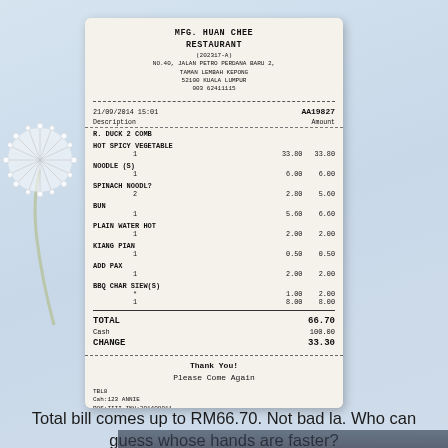[Figure (photo): A photo of a Malaysian restaurant receipt (MFG Huan Chee Restaurant) showing itemized food bill totaling RM66.70, with cash RM100.00 and change RM33.30. Receipt dated 21/08/2014 with receipt number AA19827. Items include Duck 2 Comb, Hot Spicy Vegetable, Noodle, Spinach Noodle, Bun, Plain Water Hot, Kiang Pian, Add Pax, BBQ Char Siew. Watermark: www.smallkucing.com. A dandelion is visible to the left of the receipt.]
Total bill comes up to RM66.70. Not bad la. Who can guess whose hands are faster?
[Figure (photo): Partial photo at the bottom of the page, partially cut off, showing a dark indoor scene.]